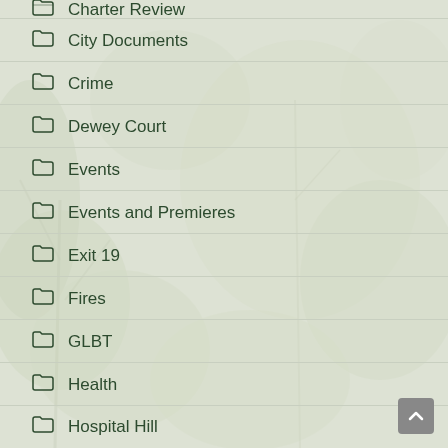Charter Review
City Documents
Crime
Dewey Court
Events
Events and Premieres
Exit 19
Fires
GLBT
Health
Hospital Hill